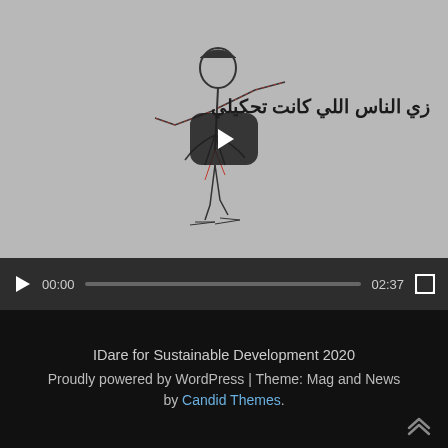[Figure (screenshot): YouTube-style video player showing a music video titled 'Mirror - مراي' with an animated sketch figure dancing. The thumbnail shows a grey background with Arabic text 'زي الناس اللي كانت تحكيلي' and a channel logo. Video controls show 00:00 current time and 02:37 total duration.]
IDare for Sustainable Development 2020
Proudly powered by WordPress | Theme: Mag and News by Candid Themes.